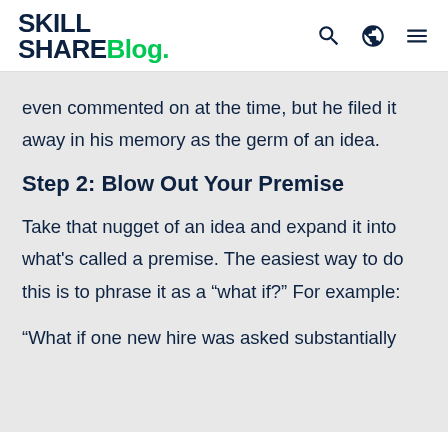Skill Share Blog.
even commented on at the time, but he filed it away in his memory as the germ of an idea.
Step 2: Blow Out Your Premise
Take that nugget of an idea and expand it into what's called a premise. The easiest way to do this is to phrase it as a “what if?” For example:
“What if one new hire was asked substantially